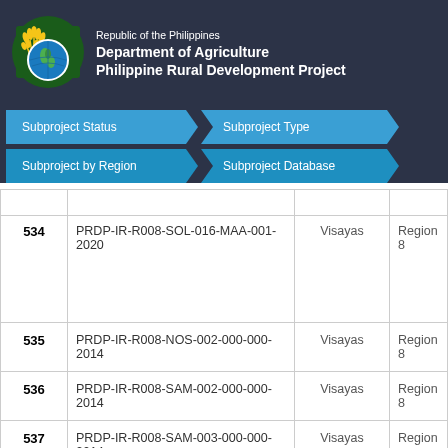[Figure (logo): Department of Agriculture Philippines logo with wheat stalks and globe]
Republic of the Philippines
Department of Agriculture
Philippine Rural Development Project
Subproject Status | Subproject Type | Subproject by Region | Subproject Database
| # | Subproject Code | Island Group | Region |
| --- | --- | --- | --- |
| 534 | PRDP-IR-R008-SOL-016-MAA-001-2020 | Visayas | Region 8 |
| 535 | PRDP-IR-R008-NOS-002-000-000-2014 | Visayas | Region 8 |
| 536 | PRDP-IR-R008-SAM-002-000-000-2014 | Visayas | Region 8 |
| 537 | PRDP-IR-R008-SAM-003-000-000-2014 | Visayas | Region |